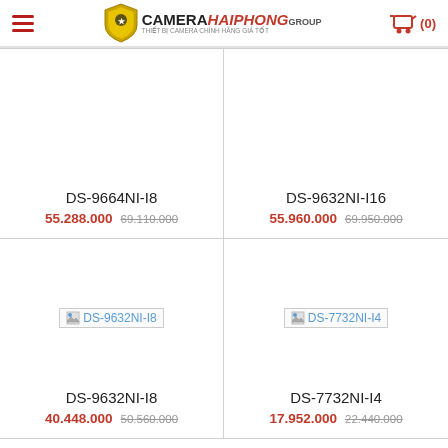CameraHaiPhong Group - Menu - Cart (0)
DS-9664NI-I8
55.288.000  69.110.000
DS-9632NI-I16
55.960.000  69.950.000
[Figure (screenshot): Broken image placeholder for DS-9632NI-I8 product]
DS-9632NI-I8
40.448.000  50.560.000
[Figure (screenshot): Broken image placeholder for DS-7732NI-I4 product]
DS-7732NI-I4
17.952.000  22.440.000